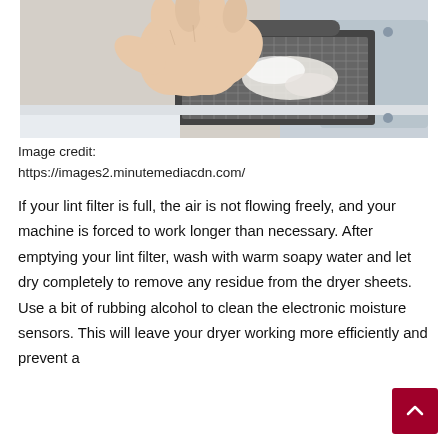[Figure (photo): A hand cleaning or removing a lint filter from a dryer machine, with lint visible on the mesh filter.]
Image credit:
https://images2.minutemediacdn.com/
If your lint filter is full, the air is not flowing freely, and your machine is forced to work longer than necessary. After emptying your lint filter, wash with warm soapy water and let dry completely to remove any residue from the dryer sheets. Use a bit of rubbing alcohol to clean the electronic moisture sensors. This will leave your dryer working more efficiently and prevent a possible fire...